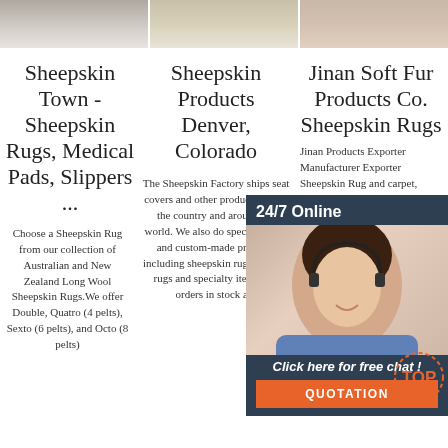[Figure (photo): Three product/lifestyle images at top showing rugs or sheepskin products]
Sheepskin Town - Sheepskin Rugs, Medical Pads, Slippers ...
Choose a Sheepskin Rug from our collection of Australian and New Zealand Long Wool Sheepskin Rugs.We offer Double, Quatro (4 pelts), Sexto (6 pelts), and Octo (8 pelts)
Sheepskin Products Denver, Colorado
The Sheepskin Factory ships seat covers and other products across the country and around the world. We also do special orders and custom-made products including sheepskin rugs, Flokati rugs and specialty items. All orders in stock are
Jinan Soft Fur Products Co. Sheepskin Rugs
Jinan Products Exporter Manufacturer Exporter Sheepskin Rug and carpet, Raccoon Fur Collar and keychain and 4108 more Products.
[Figure (photo): 24/7 Online chat widget with agent photo, click here for free chat, and QUOTATION button]